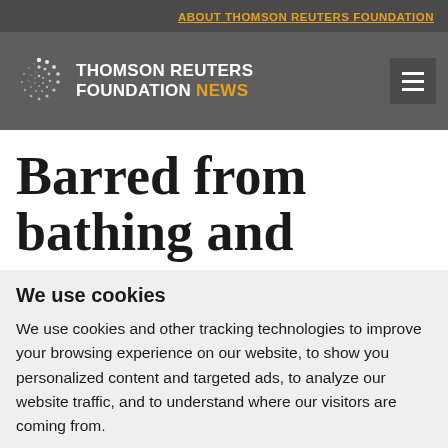ABOUT THOMSON REUTERS FOUNDATION
[Figure (logo): Thomson Reuters Foundation News logo with spiral icon]
Barred from bathing and
We use cookies
We use cookies and other tracking technologies to improve your browsing experience on our website, to show you personalized content and targeted ads, to analyze our website traffic, and to understand where our visitors are coming from.